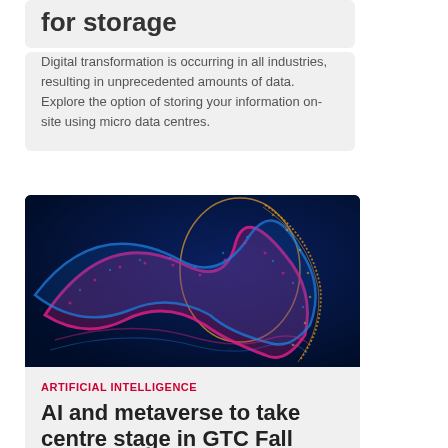for storage
Digital transformation is occurring in all industries, resulting in unprecedented amounts of data. Explore the option of storing your information on-site using micro data centres.
[Figure (illustration): Abstract digital illustration of a human head profile made of colorful particle waves in pink, blue, and orange/gold on a dark navy background, representing artificial intelligence.]
ARTIFICIAL INTELLIGENCE
AI and metaverse to take centre stage in GTC Fall